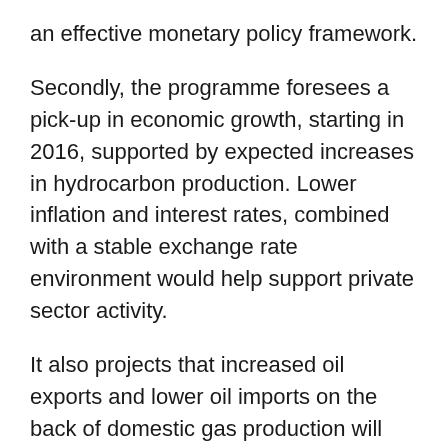an effective monetary policy framework.
Secondly, the programme foresees a pick-up in economic growth, starting in 2016, supported by expected increases in hydrocarbon production. Lower inflation and interest rates, combined with a stable exchange rate environment would help support private sector activity.
It also projects that increased oil exports and lower oil imports on the back of domestic gas production will support the improvement in the current account, which together with the surpluses on the financial and capital account will help build up gross reserves to a more adequate level...